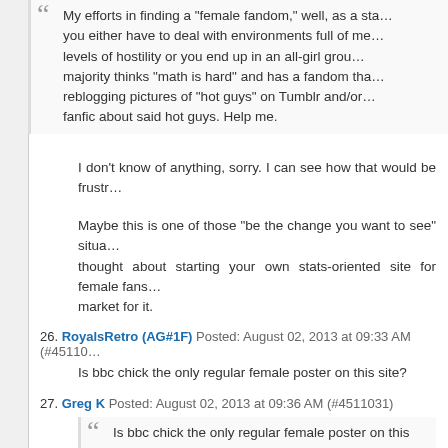My efforts in finding a "female fandom," well, as a stat-oriented fan you either have to deal with environments full of men of various levels of hostility or you end up in an all-girl group where the majority thinks "math is hard" and has a fandom that consists of reblogging pictures of "hot guys" on Tumblr and/or writing dirty fanfic about said hot guys. Help me.
I don't know of anything, sorry. I can see how that would be frustr
Maybe this is one of those "be the change you want to see" situa thought about starting your own stats-oriented site for female fans market for it.
26. RoyalsRetro (AG#1F) Posted: August 02, 2013 at 09:33 AM (#45110
Is bbc chick the only regular female poster on this site?
27. Greg K Posted: August 02, 2013 at 09:36 AM (#4511031)
Is bbc chick the only regular female poster on this site
There is another one that posts sporadically, (Devil In a Blue Cap
28. snapper (history's 42nd greatest monster) Posted: August 02, 2013 (#4511044)
My efforts in finding a "female fandom," well, as a stat-oriented fa deal with environments full of men of various levels of hostility or girl group where the majority thinks "math is hard" and has a fanc reblogging pictures of "hot guys" on Tumblr and/or writing dirty fa